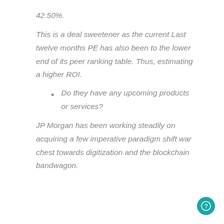42.50%.
This is a deal sweetener as the current Last twelve months PE has also been to the lower end of its peer ranking table. Thus, estimating a higher ROI.
Do they have any upcoming products or services?
JP Morgan has been working steadily on acquiring a few imperative paradigm shift war chest towards digitization and the blockchain bandwagon.